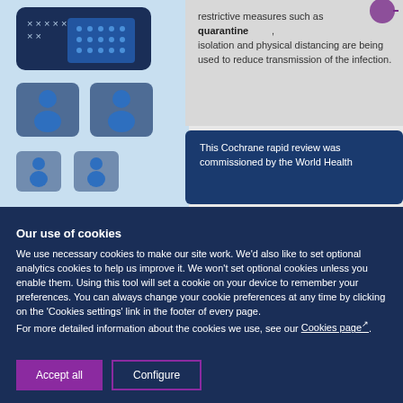[Figure (infographic): Partial Cochrane infographic showing icons of people and a speech bubble text about quarantine, isolation and physical distancing being used to reduce transmission of the infection. Another speech bubble begins: 'This Cochrane rapid review was commissioned by the World Health...']
Our use of cookies
We use necessary cookies to make our site work. We'd also like to set optional analytics cookies to help us improve it. We won't set optional cookies unless you enable them. Using this tool will set a cookie on your device to remember your preferences. You can always change your cookie preferences at any time by clicking on the 'Cookies settings' link in the footer of every page.
For more detailed information about the cookies we use, see our Cookies page.